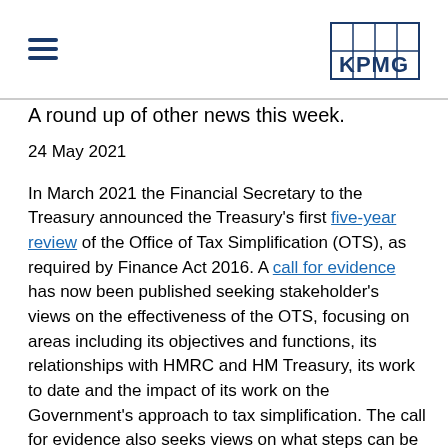KPMG [logo with hamburger menu]
A round up of other news this week.
24 May 2021
In March 2021 the Financial Secretary to the Treasury announced the Treasury's first five-year review of the Office of Tax Simplification (OTS), as required by Finance Act 2016. A call for evidence has now been published seeking stakeholder's views on the effectiveness of the OTS, focusing on areas including its objectives and functions, its relationships with HMRC and HM Treasury, its work to date and the impact of its work on the Government's approach to tax simplification. The call for evidence also seeks views on what steps can be taken to enhance the effectiveness of the OTS in the future. The